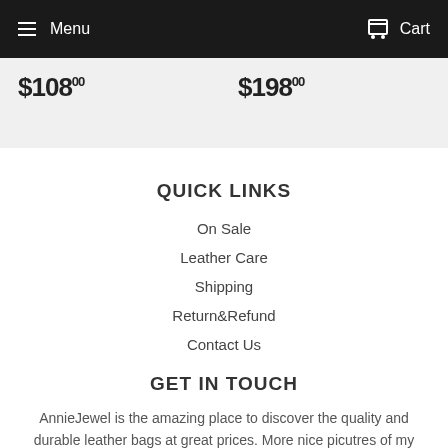Menu  Cart
$108  $198
QUICK LINKS
On Sale
Leather Care
Shipping
Return&Refund
Contact Us
GET IN TOUCH
AnnieJewel is the amazing place to discover the quality and durable leather bags at great prices. More nice picutres of my store in my Pinterest